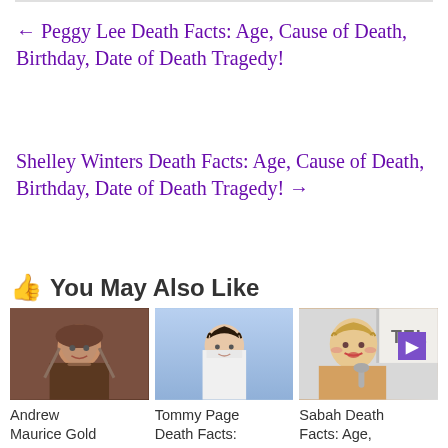← Peggy Lee Death Facts: Age, Cause of Death, Birthday, Date of Death Tragedy!
Shelley Winters Death Facts: Age, Cause of Death, Birthday, Date of Death Tragedy! →
👍 You May Also Like
[Figure (photo): Photo of Andrew Maurice Gold]
[Figure (photo): Photo of Tommy Page]
[Figure (photo): Photo of Sabah]
Andrew Maurice Gold
Tommy Page Death Facts:
Sabah Death Facts: Age,